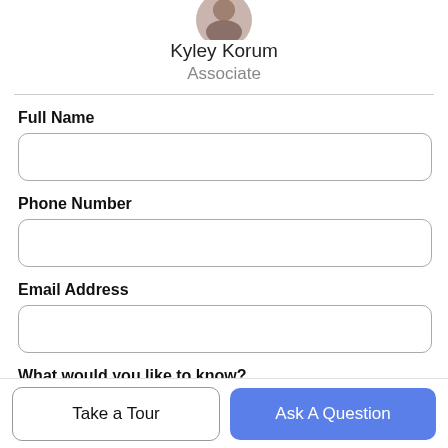[Figure (photo): Circular profile photo of Kyley Korum, partially cropped at top]
Kyley Korum
Associate
Full Name
Phone Number
Email Address
What would you like to know?
Take a Tour
Ask A Question